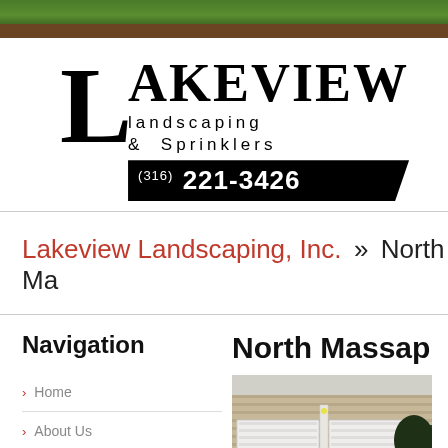[Figure (photo): Green grass header bar with brown soil strip at the bottom]
[Figure (logo): Lakeview Landscaping & Sprinklers logo with large L, text, and phone number (516) 221-3426 on black bar]
Lakeview Landscaping, Inc. » North Ma
Navigation
Home
About Us
Landscaping Services
North Massap
[Figure (photo): Photo of a house garage with white double doors, brick facade, and landscaping with dark green shrubs/trees]